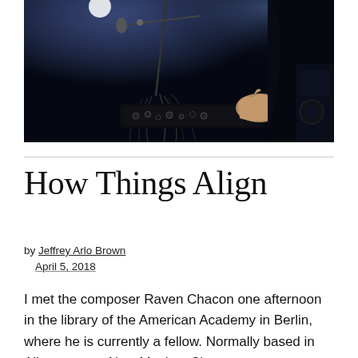[Figure (photo): A performer with long dark hair operating electronic music equipment with cables on a stage under blue and purple stage lighting. A microphone stand is visible in the background.]
How Things Align
by Jeffrey Arlo Brown
April 5, 2018
I met the composer Raven Chacon one afternoon in the library of the American Academy in Berlin, where he is currently a fellow. Normally based in Albuquerque, New Mexico, Chacon creates stereophonic, tactile music, as well as sound and visual installations. Over coffee, we talked about — and it's a topic whose definition for